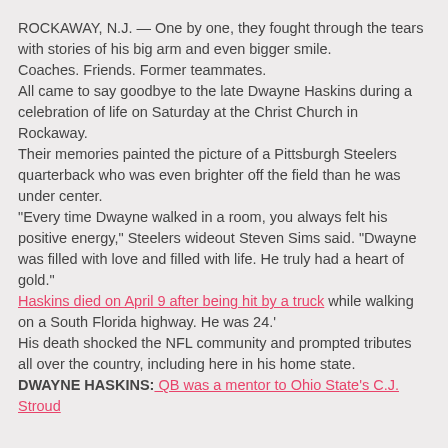ROCKAWAY, N.J. — One by one, they fought through the tears with stories of his big arm and even bigger smile.
Coaches. Friends. Former teammates.
All came to say goodbye to the late Dwayne Haskins during a celebration of life on Saturday at the Christ Church in Rockaway.
Their memories painted the picture of a Pittsburgh Steelers quarterback who was even brighter off the field than he was under center.
"Every time Dwayne walked in a room, you always felt his positive energy," Steelers wideout Steven Sims said. "Dwayne was filled with love and filled with life. He truly had a heart of gold."
Haskins died on April 9 after being hit by a truck while walking on a South Florida highway. He was 24.'
His death shocked the NFL community and prompted tributes all over the country, including here in his home state.
DWAYNE HASKINS: QB was a mentor to Ohio State's C.J. Stroud